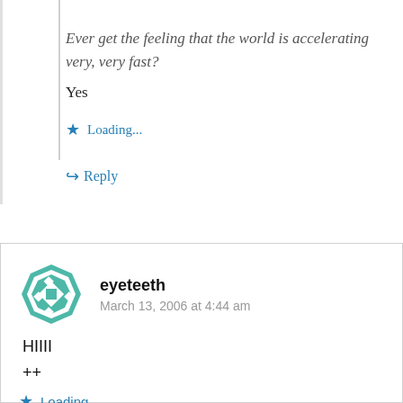Ever get the feeling that the world is accelerating very, very fast?
Yes
Loading...
↳ Reply
eyeteeth
March 13, 2006 at 4:44 am
HIIII
++
Loading...